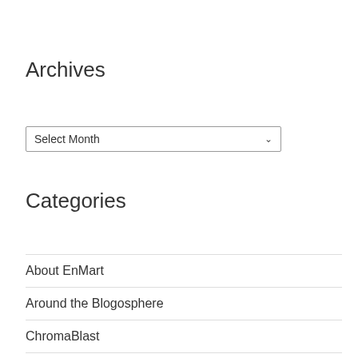Archives
Select Month
Categories
About EnMart
Around the Blogosphere
ChromaBlast
Deals and Specials
Direct to Garment